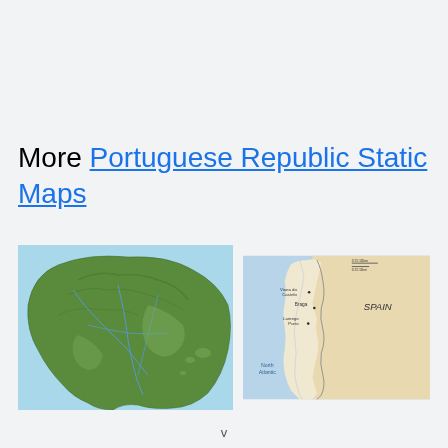More Portuguese Republic Static Maps
[Figure (map): Topographic/relief map of the Iberian Peninsula (Portugal and Spain) showing green terrain with river systems, surrounded by blue ocean/sea.]
[Figure (map): Political map of Portugal showing borders with Spain to the east, Atlantic Ocean to the west, with city labels including Braga, Viana do Castelo, and Lamego/Porto area visible.]
v